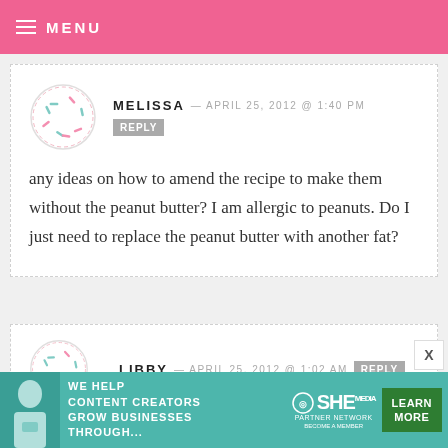MENU
MELISSA — APRIL 25, 2012 @ 1:40 PM REPLY
any ideas on how to amend the recipe to make them without the peanut butter? I am allergic to peanuts. Do I just need to replace the peanut butter with another fat?
LIBBY — APRIL 25, 2012 @ 1:02 AM REPLY
ohh this looks sooo yummm
[Figure (infographic): SHE Partner Network advertisement banner: WE HELP CONTENT CREATORS GROW BUSINESSES THROUGH... LEARN MORE BECOME A MEMBER]